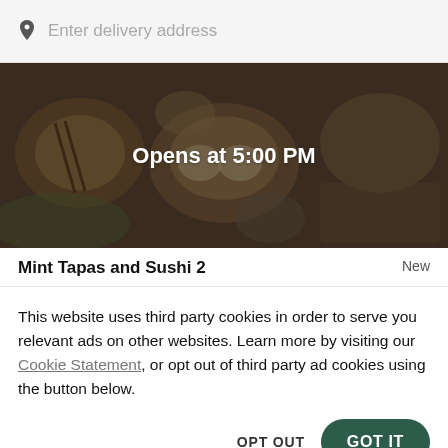Enter delivery address
[Figure (photo): Overhead photo of various Asian food dishes and bowls on a dark table, with a dark translucent overlay and centered text 'Opens at 5:00 PM']
Mint Tapas and Sushi 2
New
This website uses third party cookies in order to serve you relevant ads on other websites. Learn more by visiting our Cookie Statement, or opt out of third party ad cookies using the button below.
OPT OUT
GOT IT